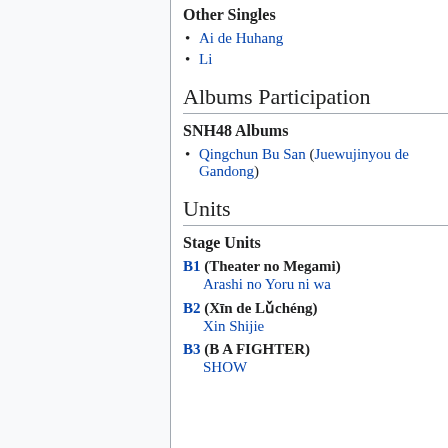Other Singles
Ai de Huhang
Li
Albums Participation
SNH48 Albums
Qingchun Bu San (Juewujinyou de Gandong)
Units
Stage Units
B1 (Theater no Megami)
Arashi no Yoru ni wa
B2 (Xīn de Lǔchéng)
Xin Shijie
B3 (B A FIGHTER)
SHOW